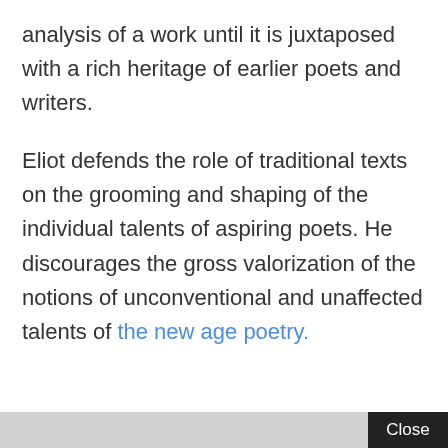analysis of a work until it is juxtaposed with a rich heritage of earlier poets and writers.

Eliot defends the role of traditional texts on the grooming and shaping of the individual talents of aspiring poets. He discourages the gross valorization of the notions of unconventional and unaffected talents of the new age poetry.
Close